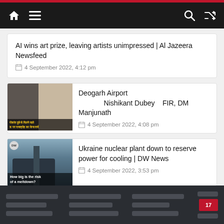Navigation bar with home, menu, search, and shuffle icons
AI wins art prize, leaving artists unimpressed | Al Jazeera Newsfeed
4 September 2022, 4:12 pm
[Figure (photo): Two men faces thumbnail for Deogarh Airport article]
Deogarh Airport Nishikant Dubey FIR, DM Manjunath
4 September 2022, 4:08 pm
[Figure (photo): Nuclear power plant building with DW logo badge and overlay text: How big is the risk of a meltdown?]
Ukraine nuclear plant down to reserve power for cooling | DW News
4 September 2022, 3:53 pm
Footer with content placeholder bars and TV logo